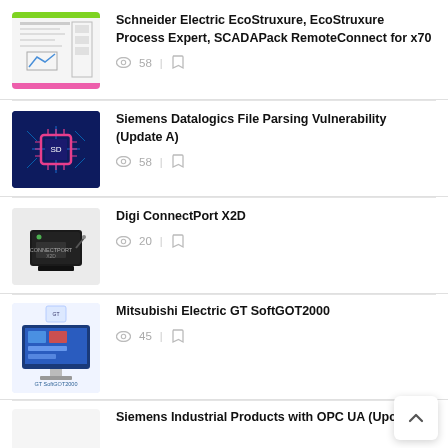Schneider Electric EcoStruxure, EcoStruxure Process Expert, SCADAPack RemoteConnect for x70 — views: 58
Siemens Datalogics File Parsing Vulnerability (Update A) — views: 58
Digi ConnectPort X2D — views: 20
Mitsubishi Electric GT SoftGOT2000 — views: 45
Siemens Industrial Products with OPC UA (Update A)